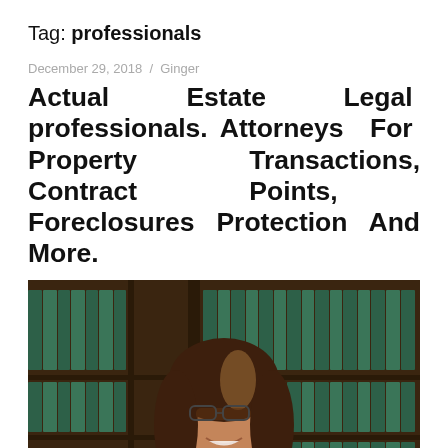Tag: professionals
December 29, 2018 / Ginger
Actual Estate Legal professionals. Attorneys For Property Transactions, Contract Points, Foreclosures Protection And More.
[Figure (photo): Professional woman with dark hair and glasses smiling in front of a bookshelf filled with green law books, wearing a dark blazer.]